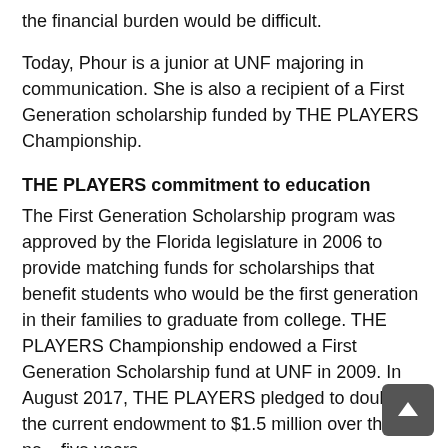the financial burden would be difficult.
Today, Phour is a junior at UNF majoring in communication. She is also a recipient of a First Generation scholarship funded by THE PLAYERS Championship.
THE PLAYERS commitment to education
The First Generation Scholarship program was approved by the Florida legislature in 2006 to provide matching funds for scholarships that benefit students who would be the first generation in their families to graduate from college. THE PLAYERS Championship endowed a First Generation Scholarship fund at UNF in 2009. In August 2017, THE PLAYERS pledged to double the current endowment to $1.5 million over the next five years.